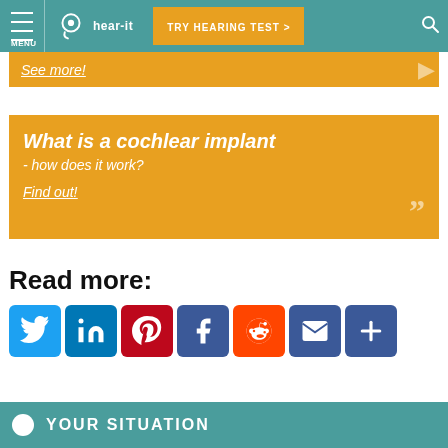MENU | hear-it | TRY HEARING TEST >
See more!
What is a cochlear implant - how does it work?
Find out!
Read more:
[Figure (infographic): Social sharing icons row: Twitter, LinkedIn, Pinterest, Facebook, Reddit, Email, More]
YOUR SITUATION